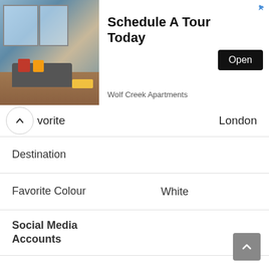[Figure (screenshot): Advertisement banner for Wolf Creek Apartments with apartment interior photo on the left, 'Schedule A Tour Today' text in bold, an 'Open' button, and 'Wolf Creek Apartments' brand name.]
| Field | Value |
| --- | --- |
| vorite Destination | London |
| Favorite Colour | White |
| Social Media Accounts |  |
| Instagram | miheekabajaj |
| Facebook | miheekab |
| Twitter | @MiheekaBajaj |